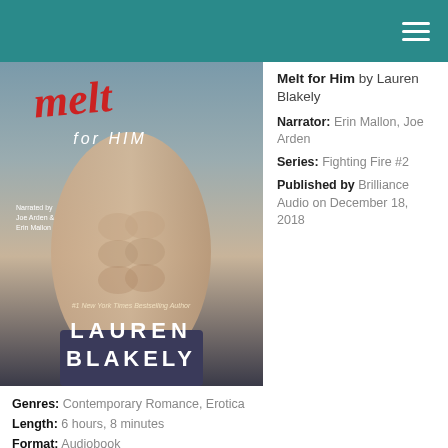[Figure (photo): Book cover of 'Melt for Him' by Lauren Blakely, showing a shirtless muscular man. Text on cover: 'melt for HIM', 'Narrated by Joe Arden & Erin Mallon', '#1 New York Times Bestselling Author', 'LAUREN BLAKELY']
Melt for Him by Lauren Blakely
Narrator: Erin Mallon, Joe Arden
Series: Fighting Fire #2
Published by Brilliance Audio on December 18, 2018
Genres: Contemporary Romance, Erotica
Length: 6 hours, 8 minutes
Format: Audiobook